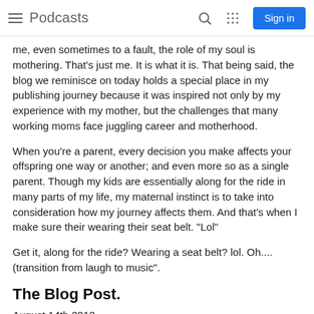Podcasts
me, even sometimes to a fault, the role of my soul is mothering. That's just me. It is what it is. That being said, the blog we reminisce on today holds a special place in my publishing journey because it was inspired not only by my experience with my mother, but the challenges that many working moms face juggling career and motherhood.
When you're a parent, every decision you make affects your offspring one way or another; and even more so as a single parent. Though my kids are essentially along for the ride in many parts of my life, my maternal instinct is to take into consideration how my journey affects them. And that's when I make sure their wearing their seat belt. "Lol"
Get it, along for the ride? Wearing a seat belt? lol. Oh.... (transition from laugh to music".
The Blog Post.
August 14th 2013